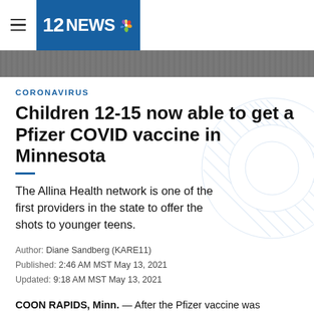12NEWS
[Figure (photo): Partial news photo strip, dark background showing partial view of a person]
CORONAVIRUS
Children 12-15 now able to get a Pfizer COVID vaccine in Minnesota
The Allina Health network is one of the first providers in the state to offer the shots to younger teens.
Author: Diane Sandberg (KARE11)
Published: 2:46 AM MST May 13, 2021
Updated: 9:18 AM MST May 13, 2021
COON RAPIDS, Minn. — After the Pfizer vaccine was approved by federal regulators for kids ages 12-15, at least one provider in the state to offer the shots to younger teens.